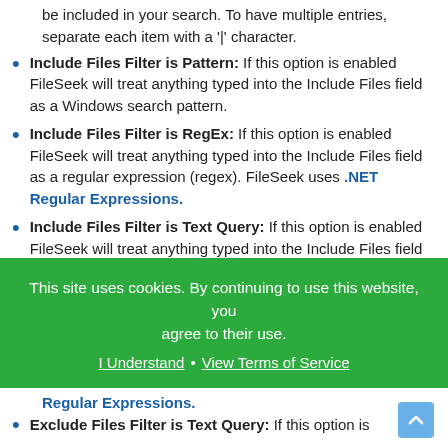be included in your search. To have multiple entries, separate each item with a '|' character.
Include Files Filter is Pattern: If this option is enabled FileSeek will treat anything typed into the Include Files field as a Windows search pattern.
Include Files Filter is RegEx: If this option is enabled FileSeek will treat anything typed into the Include Files field as a regular expression (regex). FileSeek uses .NET Regular Expressions.
Include Files Filter is Text Query: If this option is enabled FileSeek will treat anything typed into the Include Files field as a Text Query.
Exclude Files: This is a user defined list of files that will be excluded from your search. To have multiple entries, separate each item with a '|' character.
Exclude Files Filter is Pattern: If this option is enabled FileSeek will treat anything typed into the Exclude Files
This site uses cookies. By continuing to use this website, you agree to their use. I Understand · View Terms of Service
Regular Expressions.
Exclude Files Filter is Text Query: If this option is